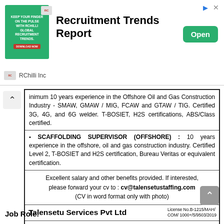[Figure (infographic): Advertisement banner for RChilli Recruitment Trends Report with green image, title, Open button, and RChilli Inc sponsor label]
minimum 10 years experience in the Offshore Oil and Gas Construction Industry - SMAW, GMAW / MIG, FCAW and GTAW / TIG. Certified 3G, 4G, and 6G welder. T-BOSIET, H2S certifications, ABS/Class certified.
SCAFFOLDING SUPERVISOR (OFFSHORE) : 10 years experience in the offshore, oil and gas construction industry. Certified Level 2, T-BOSIET and H2S certification, Bureau Veritas or equivalent certification.
Excellent salary and other benefits provided. If interested, please forward your cv to : cv@talensetustaffing.com (CV in word format only with photo)
Talensetu Services Pvt Ltd  License No.B-1215/MAH/COM/ 1000+/5/9503/2019
A-310/311, Bhaveshwar Arcade, Near Shreyas Signal, LBS Marg, Ghatkopar (west), Mumbai 400086. Mobile: 85303 96776 / 91122 00791
Job Role: